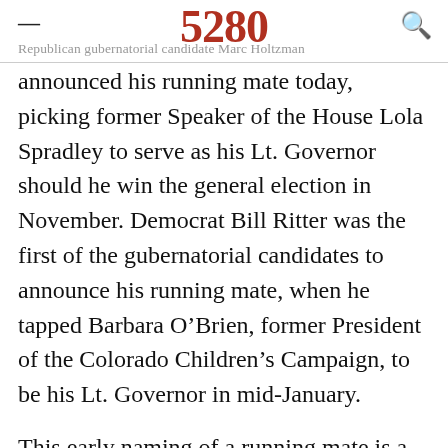5280 — Republican gubernatorial candidate Marc Holtzman
announced his running mate today, picking former Speaker of the House Lola Spradley to serve as his Lt. Governor should he win the general election in November. Democrat Bill Ritter was the first of the gubernatorial candidates to announce his running mate, when he tapped Barbara O'Brien, former President of the Colorado Children's Campaign, to be his Lt. Governor in mid-January.
This early naming of a running mate is a new phenomenon in Colorado politics. The last time there was an open seat for governor, in 1998, Lt.